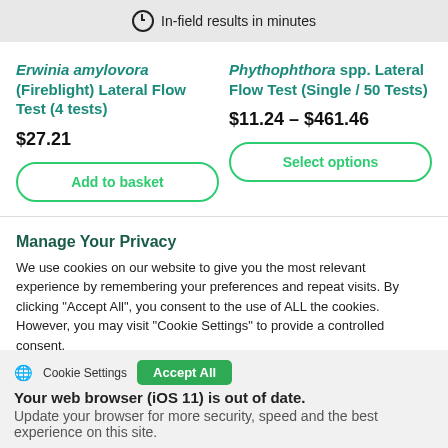In-field results in minutes
Erwinia amylovora (Fireblight) Lateral Flow Test (4 tests)
$27.21
Phythophthora spp. Lateral Flow Test (Single / 50 Tests)
$11.24 – $461.46
Add to basket
Select options
Manage Your Privacy
We use cookies on our website to give you the most relevant experience by remembering your preferences and repeat visits. By clicking "Accept All", you consent to the use of ALL the cookies. However, you may visit "Cookie Settings" to provide a controlled consent.
Your web browser (iOS 11) is out of date. Update your browser for more security, speed and the best experience on this site.
Cookie Settings
Accept All